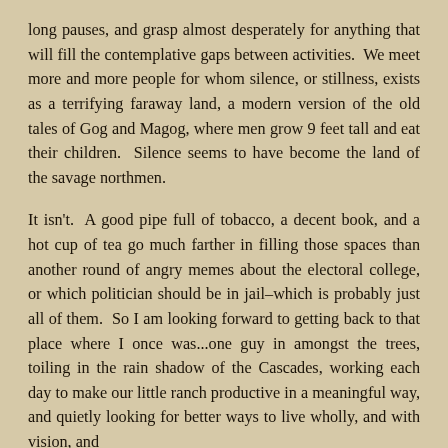long pauses, and grasp almost desperately for anything that will fill the contemplative gaps between activities.  We meet more and more people for whom silence, or stillness, exists as a terrifying faraway land, a modern version of the old tales of Gog and Magog, where men grow 9 feet tall and eat their children.  Silence seems to have become the land of the savage northmen.
It isn't.  A good pipe full of tobacco, a decent book, and a hot cup of tea go much farther in filling those spaces than another round of angry memes about the electoral college, or which politician should be in jail–which is probably just all of them.  So I am looking forward to getting back to that place where I once was...one guy in amongst the trees, toiling in the rain shadow of the Cascades, working each day to make our little ranch productive in a meaningful way, and quietly looking for better ways to live wholly, and with vision, and